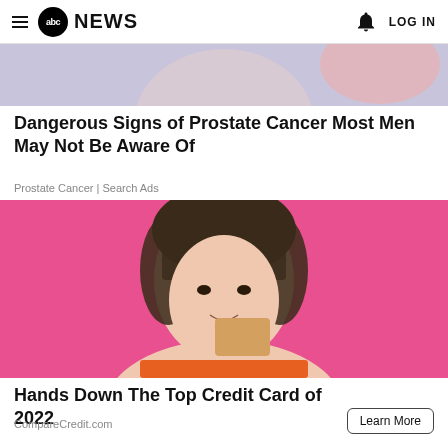abc NEWS   LOG IN
[Figure (photo): Partial image of a person with a pink/lavender background, cropped at top]
Dangerous Signs of Prostate Cancer Most Men May Not Be Aware Of
Prostate Cancer | Search Ads
[Figure (photo): Young woman with dark hair and bangs smiling, holding a credit card near her face against a pink background]
Hands Down The Top Credit Card of 2022
CompareCredit.com
Learn More